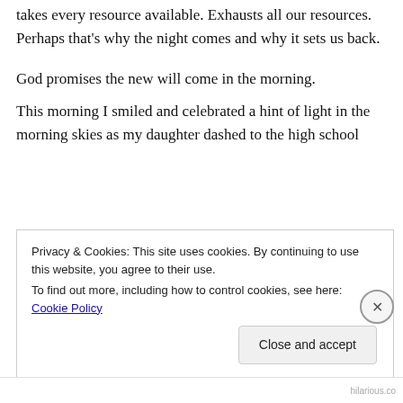This may be the hardest work we ever have to do. It takes every resource available. Exhausts all our resources. Perhaps that's why the night comes and why it sets us back.
God promises the new will come in the morning.
This morning I smiled and celebrated a hint of light in the morning skies as my daughter dashed to the high school
Privacy & Cookies: This site uses cookies. By continuing to use this website, you agree to their use.
To find out more, including how to control cookies, see here: Cookie Policy
Close and accept